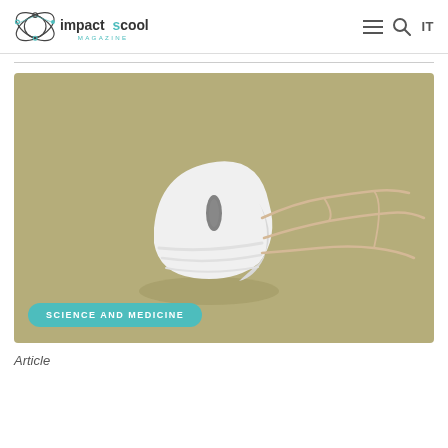impactscool MAGAZINE
[Figure (illustration): Illustration of a white N95 or FFP2 face mask lying on its side on a tan/olive background, with elastic straps extending to the right, and a 'SCIENCE AND MEDICINE' category badge in teal at the bottom left.]
Article